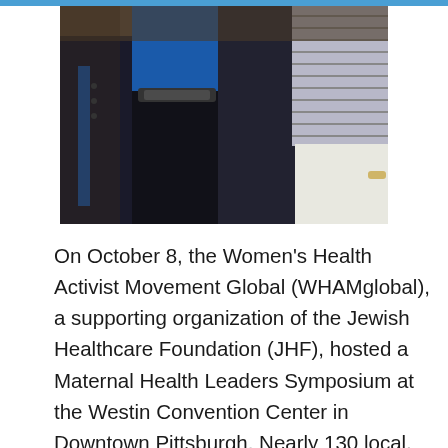[Figure (photo): Group photo of four women standing together at an event, wearing dressy attire including blue, black, and patterned outfits, in what appears to be a hotel or conference venue.]
On October 8, the Women's Health Activist Movement Global (WHAMglobal), a supporting organization of the Jewish Healthcare Foundation (JHF), hosted a Maternal Health Leaders Symposium at the Westin Convention Center in Downtown Pittsburgh. Nearly 130 local, national, and international leaders gathered to identify cutting-edge research and evidence-based programs that address the causes and